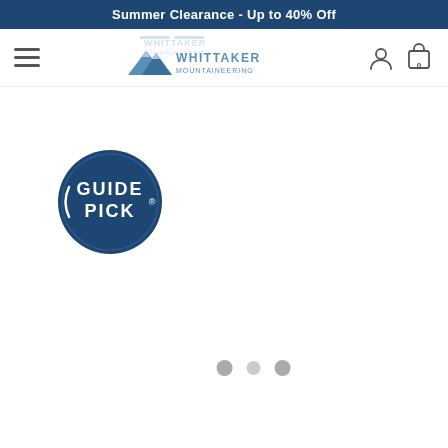Summer Clearance - Up to 40% Off
[Figure (logo): Whittaker Mountaineering logo with mountain peaks graphic and text WHITTAKER MOUNTAINEERING]
[Figure (logo): Guide Pick badge - dark navy circular badge with text GUIDE PICK]